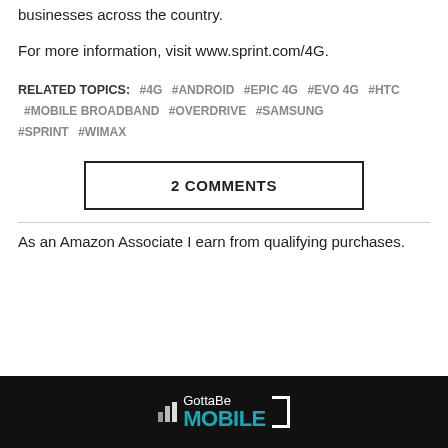businesses across the country.
For more information, visit www.sprint.com/4G.
RELATED TOPICS: #4G #ANDROID #EPIC 4G #EVO 4G #HTC #MOBILE BROADBAND #OVERDRIVE #SAMSUNG #SPRINT #WIMAX
2 COMMENTS
As an Amazon Associate I earn from qualifying purchases.
[Figure (logo): GottaBe Mobile logo with signal bar icons and teal text on black background]